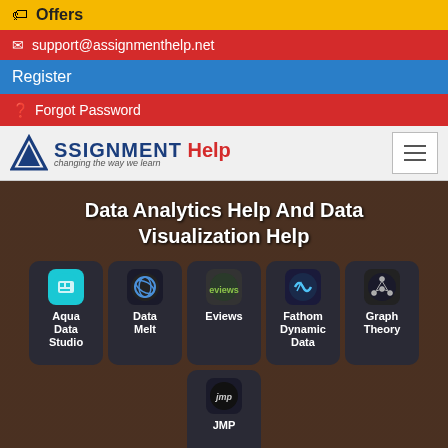Offers
support@assignmenthelp.net
Register
Forgot Password
[Figure (logo): Assignment Help logo with triangle icon and tagline 'changing the way we learn']
Data Analytics Help And Data Visualization Help
[Figure (infographic): Grid of tool icons: Aqua Data Studio, Data Melt, Eviews, Fathom Dynamic Data, Graph Theory, JMP, Aqua Data Studio, Jupyter Notebook, Minitab, NumXL, Octave Programming, Orange (partial)]